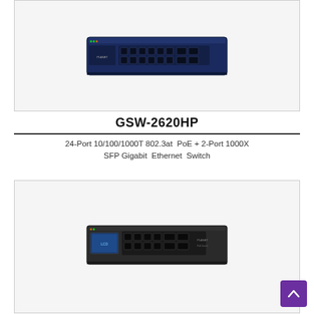[Figure (photo): PLANET GSW-2620HP 24-port network switch — dark blue rack-mount unit with multiple RJ45 ports and SFP ports on front panel]
GSW-2620HP
24-Port 10/100/1000T 802.3at PoE + 2-Port 1000X SFP Gigabit Ethernet Switch
[Figure (photo): PLANET network switch — dark/black desktop unit with LCD display, 8 RJ45 PoE ports, and SFP ports on front panel]